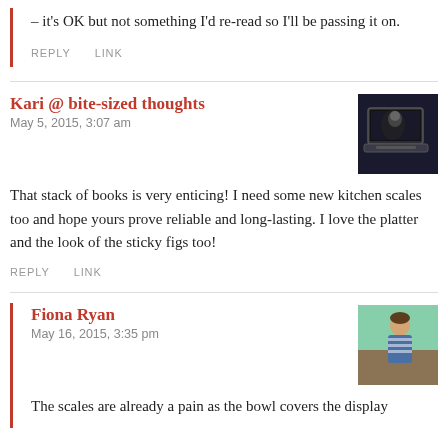– it's OK but not something I'd re-read so I'll be passing it on.
REPLY   LINK
Kari @ bite-sized thoughts
May 5, 2015, 3:07 am
That stack of books is very enticing! I need some new kitchen scales too and hope yours prove reliable and long-lasting. I love the platter and the look of the sticky figs too!
REPLY   LINK
Fiona Ryan
May 16, 2015, 3:35 pm
The scales are already a pain as the bowl covers the display